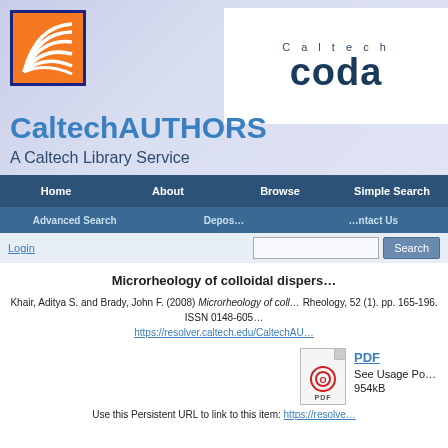[Figure (logo): CaltechAUTHORS / Caltech CODA header banner with orange Caltech logo, navigation bars, and search bar]
Microrheology of colloidal dispers…
Khair, Aditya S. and Brady, John F. (2008) Microrheology of coll… Rheology, 52 (1). pp. 165-196. ISSN 0148-605… https://resolver.caltech.edu/CaltechAU…
[Figure (other): PDF file icon]
PDF
See Usage Po…
954kB
Use this Persistent URL to link to this item: https://resolve…